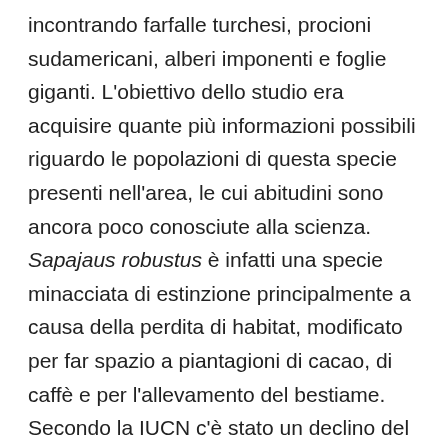incontrando farfalle turchesi, procioni sudamericani, alberi imponenti e foglie giganti. L'obiettivo dello studio era acquisire quante più informazioni possibili riguardo le popolazioni di questa specie presenti nell'area, le cui abitudini sono ancora poco conosciute alla scienza. Sapajaus robustus è infatti una specie minacciata di estinzione principalmente a causa della perdita di habitat, modificato per far spazio a piantagioni di cacao, di caffè e per l'allevamento del bestiame. Secondo la IUCN c'è stato un declino del 50% della numerosità della specie negli ultimi 48 anni, tanto che il suo areale è ormai limitato alla regione compresa tra il sud di Bahia, nord di Espírito